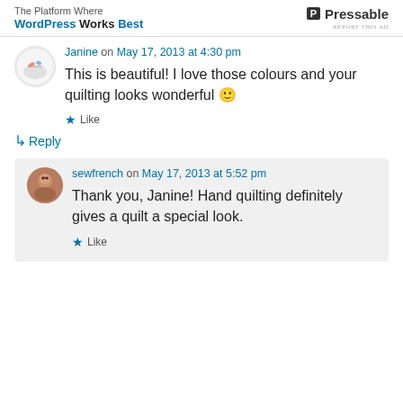The Platform Where WordPress Works Best | Pressable
Janine on May 17, 2013 at 4:30 pm
This is beautiful! I love those colours and your quilting looks wonderful 🙂
Like
Reply
sewfrench on May 17, 2013 at 5:52 pm
Thank you, Janine! Hand quilting definitely gives a quilt a special look.
Like